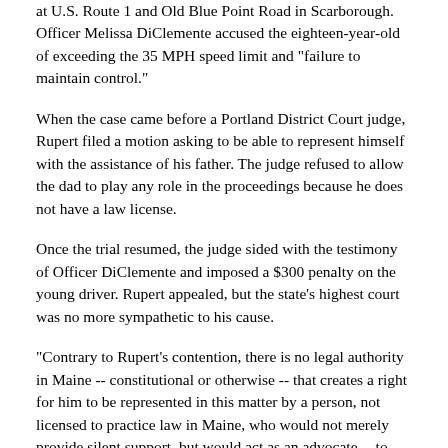at U.S. Route 1 and Old Blue Point Road in Scarborough. Officer Melissa DiClemente accused the eighteen-year-old of exceeding the 35 MPH speed limit and "failure to maintain control."
When the case came before a Portland District Court judge, Rupert filed a motion asking to be able to represent himself with the assistance of his father. The judge refused to allow the dad to play any role in the proceedings because he does not have a law license.
Once the trial resumed, the judge sided with the testimony of Officer DiClemente and imposed a $300 penalty on the young driver. Rupert appealed, but the state's highest court was no more sympathetic to his cause.
"Contrary to Rupert's contention, there is no legal authority in Maine -- constitutional or otherwise -- that creates a right for him to be represented in this matter by a person, not licensed to practice law in Maine, who would not merely provide silent support, but would act as an advocate -- to participate, in other words, as a licensed attorney would," Justice Jeffrey L. Hjelm wrote for the court.
Prior to 1931, it was legal for "any citizen of good moral character" to represent an individual in court, even without being